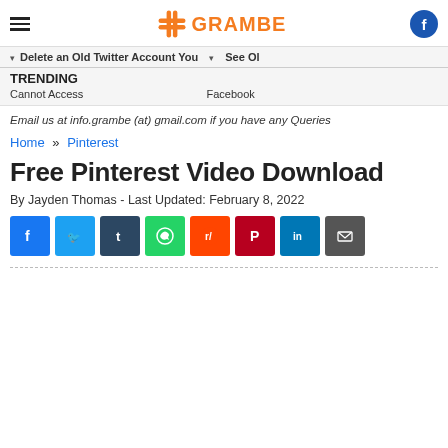Grambe — hamburger menu, logo, facebook icon
Delete an Old Twitter Account You · See Ol…
TRENDING
Cannot Access · Facebook
Email us at info.grambe (at) gmail.com if you have any Queries
Home » Pinterest
Free Pinterest Video Download
By Jayden Thomas - Last Updated: February 8, 2022
[Figure (infographic): Social media share buttons: Facebook, Twitter, Tumblr, WhatsApp, Reddit, Pinterest, LinkedIn, Email]